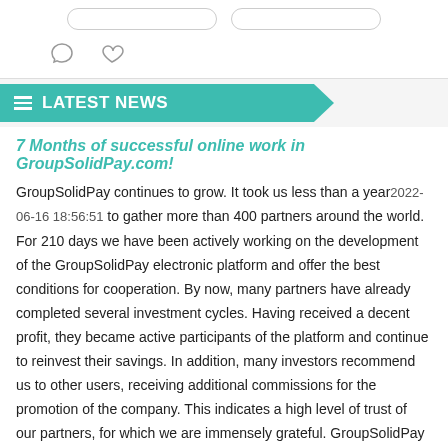[Figure (screenshot): Top UI section with two rounded rectangle placeholders and two heart/chat icons below them]
LATEST NEWS
7 Months of successful online work in GroupSolidPay.com!
GroupSolidPay continues to grow. It took us less than a year2022-06-16 18:56:51 to gather more than 400 partners around the world. For 210 days we have been actively working on the development of the GroupSolidPay electronic platform and offer the best conditions for cooperation. By now, many partners have already completed several investment cycles. Having received a decent profit, they became active participants of the platform and continue to reinvest their savings. In addition, many investors recommend us to other users, receiving additional commissions for the promotion of the company. This indicates a high level of trust of our partners, for which we are immensely grateful. GroupSolidPay is the market leader in cryptocurrency. In addition, profitable products launched under the company's own brand also bring profit to investors. The trust of our partners motivates us to provide the best conditions for cooperation. Join our team.